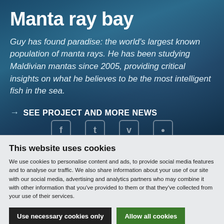Manta ray bay
Guy has found paradise: the world's largest known population of manta rays. He has been studying Maldivian mantas since 2005, providing critical insights on what he believes to be the most intelligent fish in the sea.
→ SEE PROJECT AND MORE NEWS
This website uses cookies
We use cookies to personalise content and ads, to provide social media features and to analyse our traffic. We also share information about your use of our site with our social media, advertising and analytics partners who may combine it with other information that you've provided to them or that they've collected from your use of their services.
Use necessary cookies only
Allow all cookies
© 2022 Save Our Seas Foundation
Show details ∨